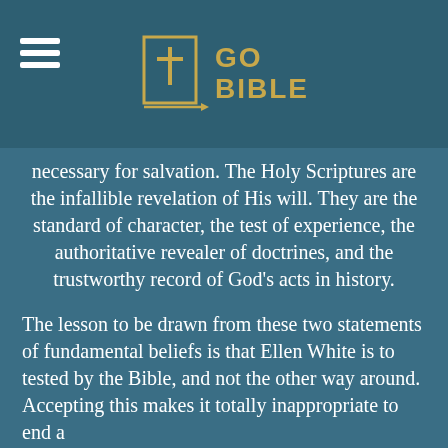[Figure (logo): Go Bible logo with cross icon and hamburger menu on dark teal background]
necessary for salvation. The Holy Scriptures are the infallible revelation of His will. They are the standard of character, the test of experience, the authoritative revealer of doctrines, and the trustworthy record of God's acts in history.
The lesson to be drawn from these two statements of fundamental beliefs is that Ellen White is to tested by the Bible, and not the other way around. Accepting this makes it totally inappropriate to end a